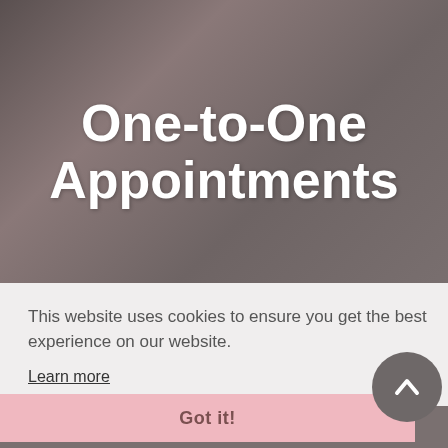[Figure (photo): Blurred background photo of a person in a medical or consultation setting, overlaid with dark grey tones]
One-to-One Appointments
This website uses cookies to ensure you get the best experience on our website.
Learn more
Got it!
What can I expect during my appointment?